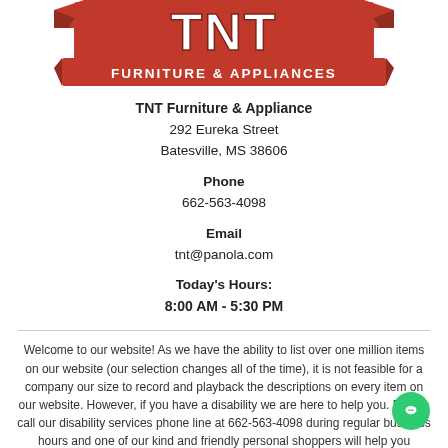[Figure (logo): TNT Furniture & Appliances logo with red banner and block letters]
TNT Furniture & Appliance
292 Eureka Street
Batesville, MS 38606
Phone
662-563-4098
Email
tnt@panola.com
Today's Hours:
8:00 AM - 5:30 PM
Welcome to our website! As we have the ability to list over one million items on our website (our selection changes all of the time), it is not feasible for a company our size to record and playback the descriptions on every item on our website. However, if you have a disability we are here to help you. Please call our disability services phone line at 662-563-4098 during regular business hours and one of our kind and friendly personal shoppers will help you navigate through our website, help conduct advanced searches, help you choose the item you are looking for with the specifications you are